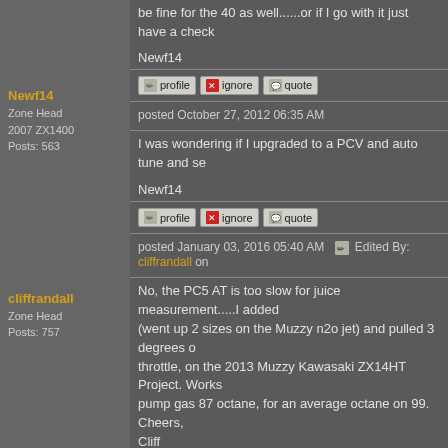be fine for the 40 as well......or if I go with it just have a check
Newf14
[Figure (screenshot): Action buttons: profile, ignore, quote]
Newf14
Zone Head
2007 ZX1400
Posts: 563
posted October 27, 2012 06:35 AM
I was wondering if I upgraded to a PCV and auto tune and se
Newf14
[Figure (screenshot): Action buttons: profile, ignore, quote]
cliffrandall
Zone Head
Posts: 757
posted January 03, 2016 05:40 AM   Edited By: cliffrandall on
No, the PC5 AT is too slow for juice measurement.....I added (went up 2 sizes on the Muzzy n2o jet) and pulled 3 degrees o throttle, on the 2013 Muzzy Kawasaki ZX14HT Project. Works pump gas 87 octane, for an average octane on 99.
Cheers,
Cliff
[Figure (screenshot): Action buttons: profile, ignore, quote]